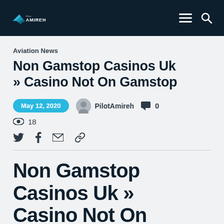Amireh (logo) — navigation header
Aviation News
Non Gamstop Casinos Uk » Casino Not On Gamstop
May 12, 2020  PilotAmireh  0  18
Share icons: Twitter, Facebook, Email, Link
Non Gamstop Casinos Uk » Casino Not On